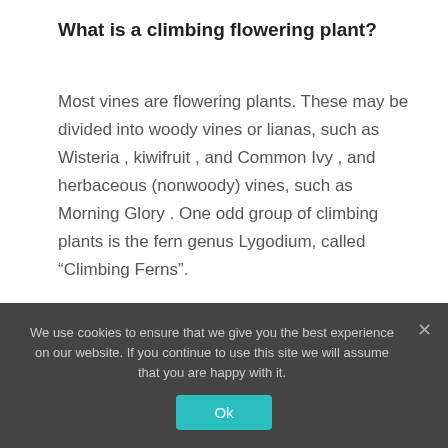What is a climbing flowering plant?
Most vines are flowering plants. These may be divided into woody vines or lianas, such as Wisteria , kiwifruit , and Common Ivy , and herbaceous (nonwoody) vines, such as Morning Glory . One odd group of climbing plants is the fern genus Lygodium, called “Climbing Ferns”.
[Figure (screenshot): YouTube video thumbnail showing a butterfly on a flower with title 'TOP 10 Summer Flowerin...' on black background]
We use cookies to ensure that we give you the best experience on our website. If you continue to use this site we will assume that you are happy with it.